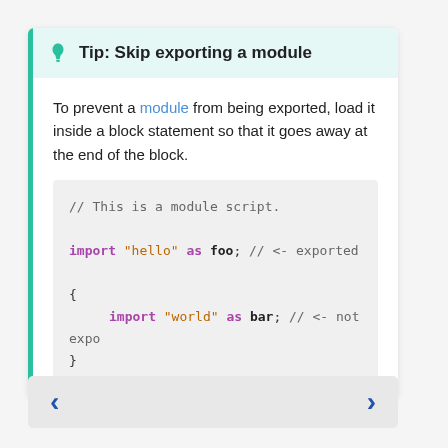Tip: Skip exporting a module
To prevent a module from being exported, load it inside a block statement so that it goes away at the end of the block.
[Figure (screenshot): Code block showing module import example with a comment '// This is a module script.', then 'import "hello" as foo; // <- exported', then a block '{' with '    import "world" as bar; // <- not expo' and closing '}'.]
[Figure (other): Navigation bar with left and right arrow buttons for paging through content.]